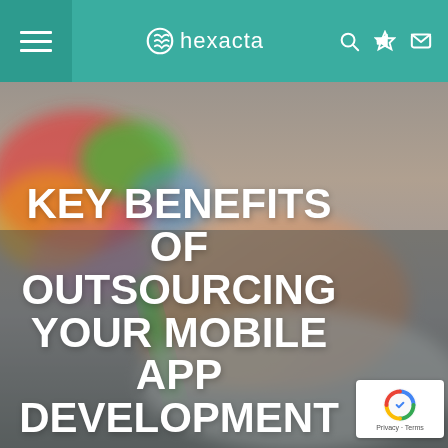hexacta
[Figure (photo): Blurred photo of a person's hand working at a colorful desk with markers/pens, serving as a hero background image]
KEY BENEFITS OF OUTSOURCING YOUR MOBILE APP DEVELOPMENT